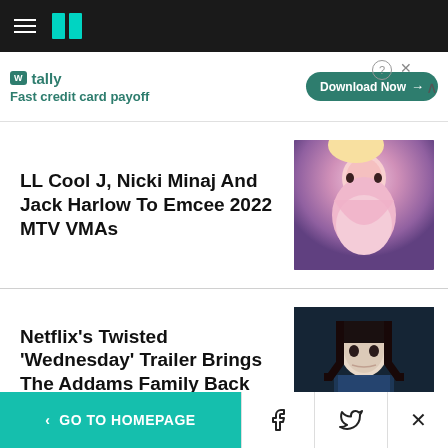HuffPost navigation header
[Figure (screenshot): Advertisement banner for Tally app - Fast credit card payoff with Download Now button]
LL Cool J, Nicki Minaj And Jack Harlow To Emcee 2022 MTV VMAs
[Figure (photo): Photo of Nicki Minaj in pink gown at an event]
Netflix's Twisted 'Wednesday' Trailer Brings The Addams Family Back Together
[Figure (photo): Photo of Wednesday Addams character from Netflix show in dark setting]
< GO TO HOMEPAGE